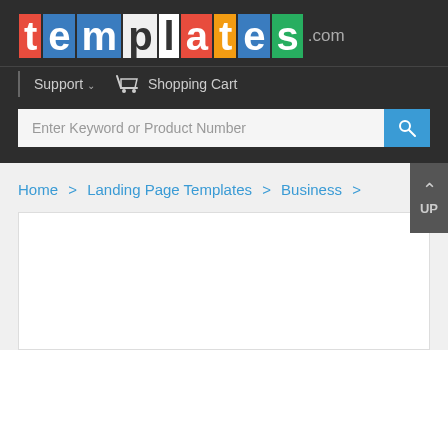templates.com
Support  Shopping Cart
Enter Keyword or Product Number
Home > Landing Page Templates > Business >
[Figure (screenshot): White content area box below breadcrumb navigation]